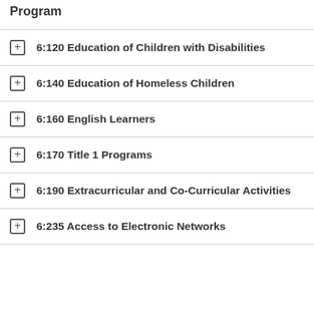Program
6:120 Education of Children with Disabilities
6:140 Education of Homeless Children
6:160 English Learners
6:170 Title 1 Programs
6:190 Extracurricular and Co-Curricular Activities
6:235 Access to Electronic Networks